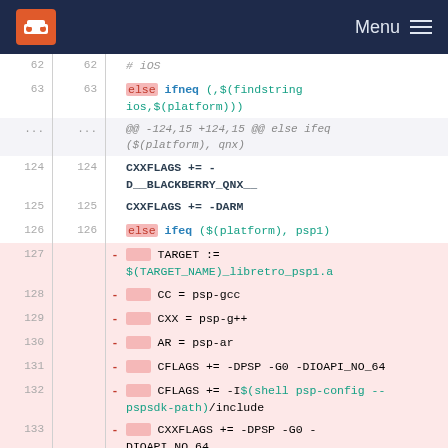Menu
[Figure (screenshot): Code diff view showing lines 62-134 of a Makefile with removed lines (127-134) highlighted in red/pink, showing PSP platform build configuration including TARGET, CC, CXX, AR, CFLAGS, CXXFLAGS settings.]